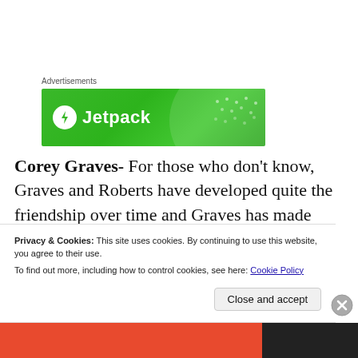[Figure (other): Jetpack advertisement banner — green background with Jetpack logo (lightning bolt icon in white circle) and 'Jetpack' text in white]
Corey Graves-  For those who don't know, Graves and Roberts have developed quite the friendship over time and Graves has made multiple appearances on Roberts' podcast. What I like about Graves' appearances is that
Privacy & Cookies: This site uses cookies. By continuing to use this website, you agree to their use.
To find out more, including how to control cookies, see here: Cookie Policy
Close and accept